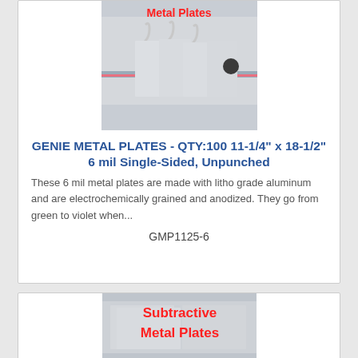[Figure (photo): Photo of Genie Metal Plates product with S-hooks and metal plates hanging, red text overlay reading 'Metal Plates']
GENIE METAL PLATES - QTY:100 11-1/4" x 18-1/2" 6 mil Single-Sided, Unpunched
These 6 mil metal plates are made with litho grade aluminum and are electrochemically grained and anodized. They go from green to violet when...
GMP1125-6
[Figure (photo): Photo of Subtractive Metal Plates product with red text overlay reading 'Subtractive Metal Plates']